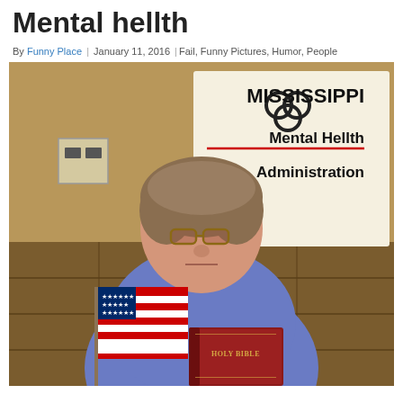Mental hellth
By Funny Place | January 11, 2016 | Fail, Funny Pictures, Humor, People
[Figure (photo): A woman sitting in front of a sign reading 'MISSISSIPPI Mental Hellth Administration', holding an American flag and a Holy Bible, wearing a blue sweatshirt and glasses.]